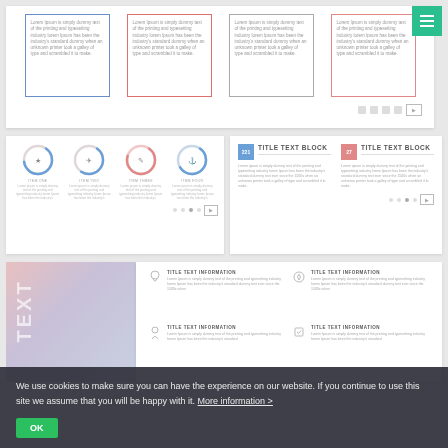[Figure (screenshot): Top panel showing four lorem ipsum cards with colored borders (blue, pink, gray, rose), social icons, and navigation button]
[Figure (screenshot): Middle left panel showing four circular progress/donut indicators with icons and labels: ITEM ONE, ITEM TWO, ITEM THREE, ITEM FOUR]
[Figure (screenshot): Middle right panel showing two title text blocks with numbered boxes (blue 221, pink 27), titles TITLE TEXT BLOCK, and lorem ipsum descriptions]
[Figure (screenshot): Bottom left gradient image panel with rotated TEXT label]
[Figure (infographic): Bottom right panel with four TITLE TEXT INFORMATION items each with icon and lorem ipsum description text]
We use cookies to make sure you can have the experience on our website. If you continue to use this site we assume that you will be happy with it. More information >
OK